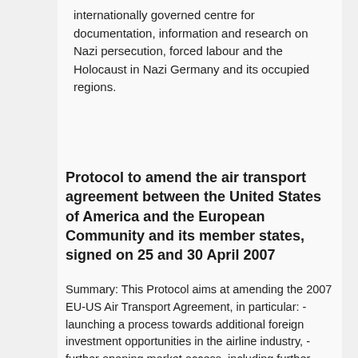internationally governed centre for documentation, information and research on Nazi persecution, forced labour and the Holocaust in Nazi Germany and its occupied regions.
Protocol to amend the air transport agreement between the United States of America and the European Community and its member states, signed on 25 and 30 April 2007
Summary: This Protocol aims at amending the 2007 EU-US Air Transport Agreement, in particular: - launching a process towards additional foreign investment opportunities in the airline industry, - further opening market access, including further access by EU airlines to US Government-financed air transportation, and - further